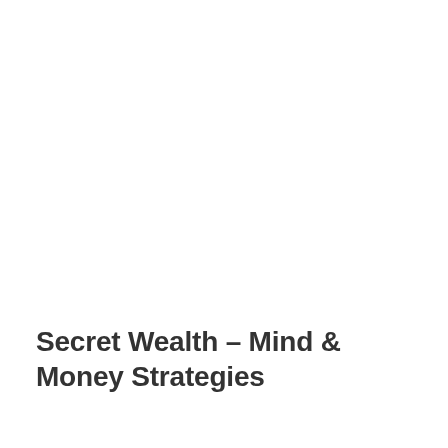Secret Wealth – Mind & Money Strategies